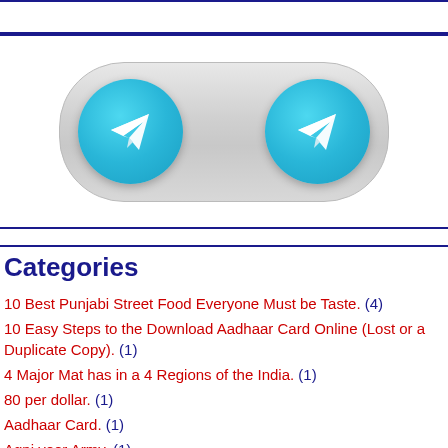[Figure (logo): Telegram channel promotional banner with two Telegram icons (blue circles with white paper plane) on a grey pill-shaped button]
Categories
10 Best Punjabi Street Food Everyone Must be Taste. (4)
10 Easy Steps to the Download Aadhaar Card Online (Lost or a Duplicate Copy). (1)
4 Major Mat has in a 4 Regions of the India. (1)
80 per dollar. (1)
Aadhaar Card. (1)
Agni veer Army. (1)
Angiotensin-Converting Enzyme (ACE) Inhibitors. (1)
Answer Key (15)